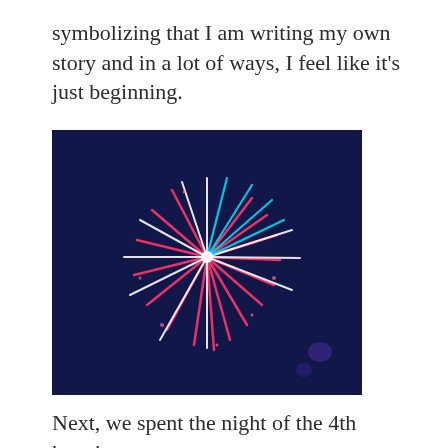symbolizing that I am writing my own story and in a lot of ways, I feel like it’s just beginning.
[Figure (photo): A photograph of a fireworks explosion against a dark night sky, showing colorful streaks of red, white, and cyan radiating outward from a central burst point.]
Next, we spent the night of the 4th hanging out